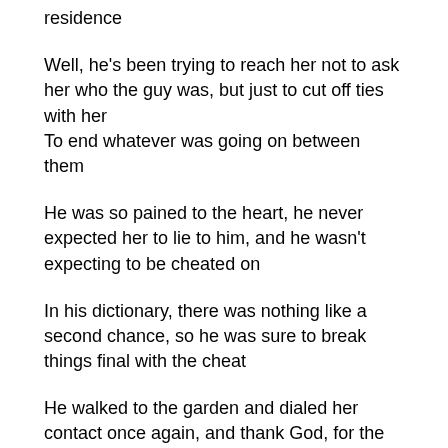residence
Well, he's been trying to reach her not to ask her who the guy was, but just to cut off ties with her
To end whatever was going on between them
He was so pained to the heart, he never expected her to lie to him, and he wasn't expecting to be cheated on
In his dictionary, there was nothing like a second chance, so he was sure to break things final with the cheat
He walked to the garden and dialed her contact once again, and thank God, for the first time in two days, it went through
***********************
Annette was walking along the lonely road of their street, singing and clapping
She reached the junction and then suddenly, Timi jumped out